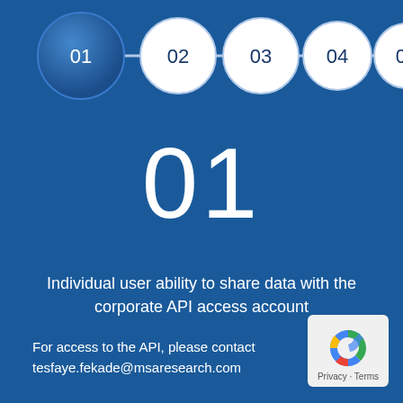[Figure (infographic): Five numbered circles (01-05) connected by a horizontal line at the top. Circle 01 is filled with a dark blue gradient, circles 02-05 are white with dark text.]
01
Individual user ability to share data with the corporate API access account
For access to the API, please contact tesfaye.fekade@msaresearch.com
[Figure (logo): Google reCAPTCHA privacy badge with Privacy - Terms text]